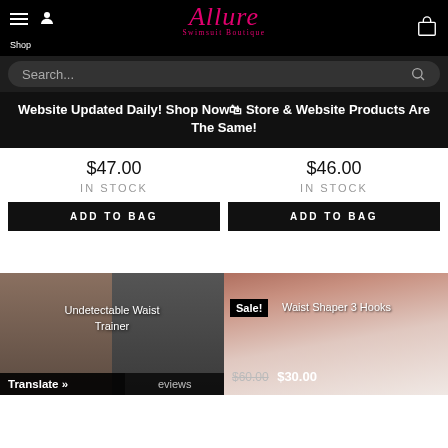[Figure (screenshot): Allure Swimsuit Boutique website header with hamburger menu, user icon, pink cursive logo, and shopping bag icon on black background]
[Figure (screenshot): Search bar with placeholder text 'Search...' and magnifying glass icon on dark background]
Website Updated Daily! Shop Now Store & Website Products Are The Same!
$47.00
IN STOCK
ADD TO BAG
$46.00
IN STOCK
ADD TO BAG
[Figure (photo): Product photos of waist trainers and waist shapers with price labels and sale badge]
Undetectable Waist Trainer
Sale! Waist Shaper 3 Hooks
$60.00 $30.00
Translate »
eviews